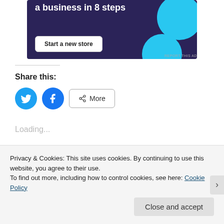[Figure (illustration): Advertisement banner with dark purple background, text 'a business in 8 steps', a 'Start a new store' button, and cyan decorative circles]
REPORT THIS AD
Share this:
[Figure (illustration): Twitter share button (cyan circle with bird icon), Facebook share button (blue circle with f icon), and More button]
Loading...
Related
Privacy & Cookies: This site uses cookies. By continuing to use this website, you agree to their use.
To find out more, including how to control cookies, see here: Cookie Policy
Close and accept